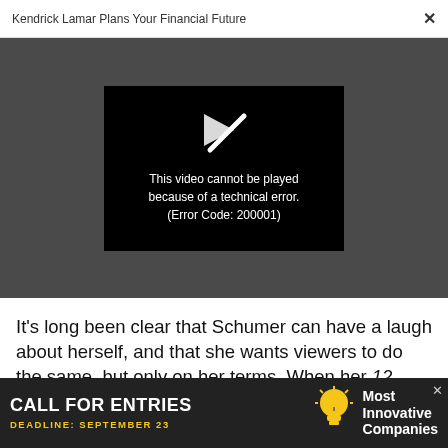Kendrick Lamar Plans Your Financial Future  ×
[Figure (screenshot): Video player showing error: 'This video cannot be played because of a technical error. (Error Code: 200001)' with a broken play icon on black background, embedded in a dark gray video section.]
It's long been clear that Schumer can have a laugh about herself, and that she wants viewers to do the same, but only on her terms. When her 12 Angry Men script–and she did indeed write and co-direct this
[Figure (infographic): Advertisement banner: 'CALL FOR ENTRIES' in white bold text, 'DEADLINE: SEPTEMBER 23' in yellow, lightbulb icon, 'Most Innovative Companies' in white text on dark background.]